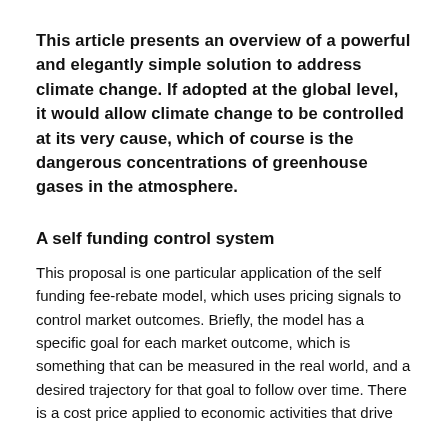This article presents an overview of a powerful and elegantly simple solution to address climate change. If adopted at the global level, it would allow climate change to be controlled at its very cause, which of course is the dangerous concentrations of greenhouse gases in the atmosphere.
A self funding control system
This proposal is one particular application of the self funding fee-rebate model, which uses pricing signals to control market outcomes. Briefly, the model has a specific goal for each market outcome, which is something that can be measured in the real world, and a desired trajectory for that goal to follow over time. There is a cost price applied to economic activities that drive